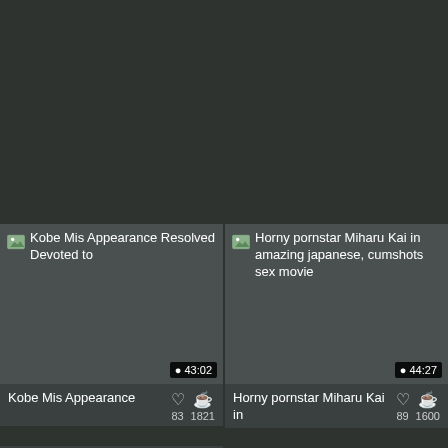[Figure (screenshot): Video thumbnail card grid showing two adult video thumbnails with broken image placeholders, titles, duration badges, like counts, and view counts. Left card: 'Kobe Mis Appearance Resolved Devoted to', duration 43:02, 83 likes, 1821 views. Right card: 'Horny pornstar Miharu Kai in amazing japanese, cumshots sex movie', duration 44:27, 89 likes, 1600 views.]